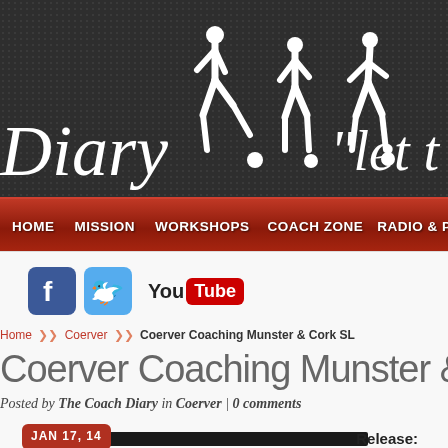[Figure (screenshot): Website header with dark dotted background, showing 'Diary' text in italic white, soccer player silhouettes in white, and quote text 'let t' partially visible on the right]
HOME | MISSION | WORKSHOPS | COACH ZONE | RADIO & PODCAST
[Figure (infographic): Social media icons: Facebook (blue rounded square with f), Twitter (light blue rounded square with bird), YouTube badge with You in black and Tube in red rounded rectangle]
Home >> Coerver >> Coerver Coaching Munster & Cork SL
Coerver Coaching Munster & Co
Posted by The Coach Diary in Coerver | 0 comments
JAN 17, 14
Release: